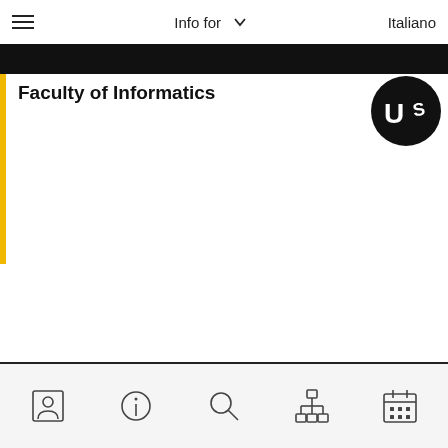Info for   Italiano
Faculty of Informatics
[Figure (logo): University logo — black circle with white letter U and S]
Navigation icons: contact card, info, search, org chart, calendar